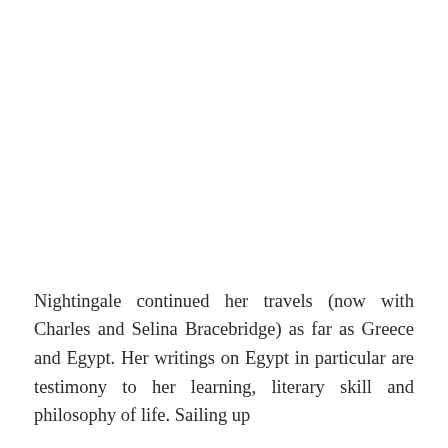Nightingale continued her travels (now with Charles and Selina Bracebridge) as far as Greece and Egypt. Her writings on Egypt in particular are testimony to her learning, literary skill and philosophy of life. Sailing up